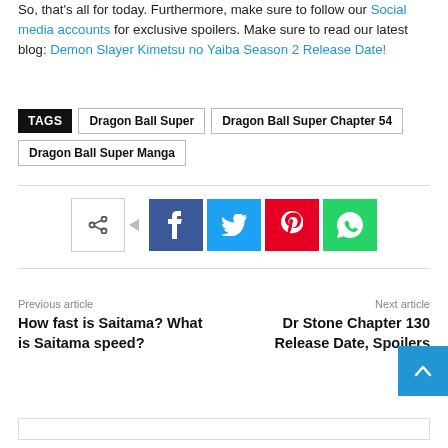So, that's all for today. Furthermore, make sure to follow our Social media accounts for exclusive spoilers. Make sure to read our latest blog: Demon Slayer Kimetsu no Yaiba Season 2 Release Date!
TAGS  Dragon Ball Super  Dragon Ball Super Chapter 54  Dragon Ball Super Manga
[Figure (infographic): Social share bar with share icon, Facebook, Twitter, Pinterest, and WhatsApp buttons]
Previous article
How fast is Saitama? What is Saitama speed?
Next article
Dr Stone Chapter 130 Release Date, Spoilers